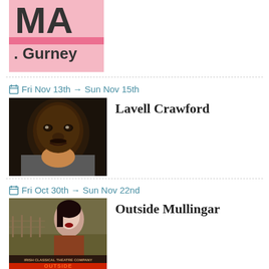[Figure (photo): Partial top image showing pink background with text 'A' and '. Gurney' visible - cropped from above]
Fri Nov 13th → Sun Nov 15th
Lavell Crawford
[Figure (photo): Headshot photo of Lavell Crawford, a Black man in a gray jacket with an orange collar]
Fri Oct 30th → Sun Nov 22nd
Outside Mullingar
[Figure (photo): Poster for 'Outside Mullingar' by Irish Classical Theatre Company showing illustrated woman against green/rural backdrop]